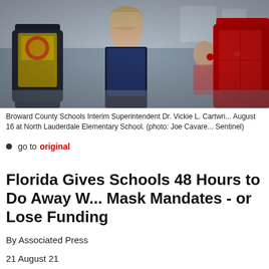[Figure (photo): Classroom scene with students wearing backpacks and an adult figure, likely a school administrator or superintendent, in the foreground. Photo taken at North Lauderdale Elementary School.]
Broward County Schools Interim Superintendent Dr. Vickie L. Cartwri... August 16 at North Lauderdale Elementary School. (photo: Joe Cavare... Sentinel)
go to original
Florida Gives Schools 48 Hours to Do Away W... Mask Mandates - or Lose Funding
By Associated Press
21 August 21